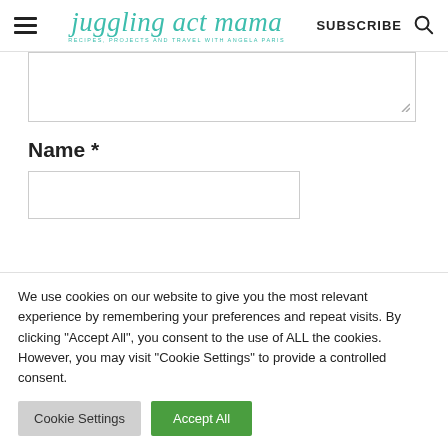juggling act mama — RECIPES, PROJECTS AND TRAVEL WITH ANGELA PARIS — SUBSCRIBE
Name *
We use cookies on our website to give you the most relevant experience by remembering your preferences and repeat visits. By clicking "Accept All", you consent to the use of ALL the cookies. However, you may visit "Cookie Settings" to provide a controlled consent.
Cookie Settings | Accept All